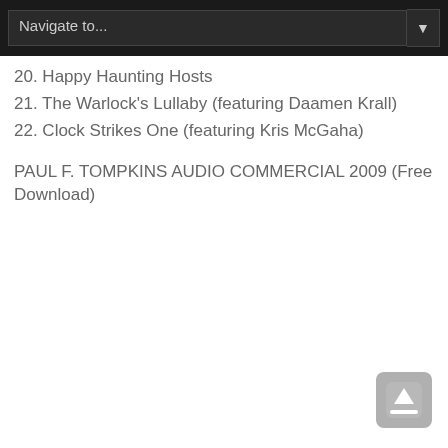Navigate to...
20. Happy Haunting Hosts
21. The Warlock's Lullaby (featuring Daamen Krall)
22. Clock Strikes One (featuring Kris McGaha)
PAUL F. TOMPKINS AUDIO COMMERCIAL 2009 (Free Download)
[Figure (other): Upload/scroll-to-top button icon in bottom right corner]